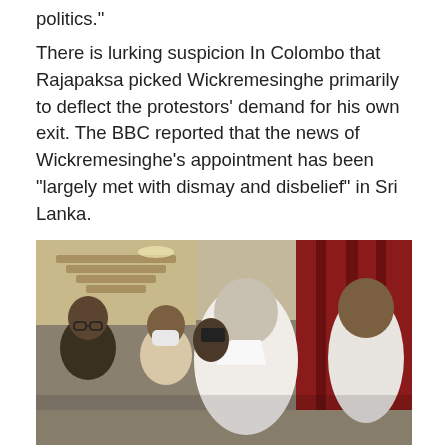politics."
There is lurking suspicion In Colombo that Rajapaksa picked Wickremesinghe primarily to deflect the protestors' demand for his own exit. The BBC reported that the news of Wickremesinghe's appointment has been “largely met with dismay and disbelief” in Sri Lanka.
[Figure (photo): A group of people in formal attire gathered indoors. A grey-haired man in a white shirt stands prominently in the center, flanked by several others including a man in a white mask and a bald man in a white shirt on the right. Red curtains and an ornate staircase are visible in the background.]